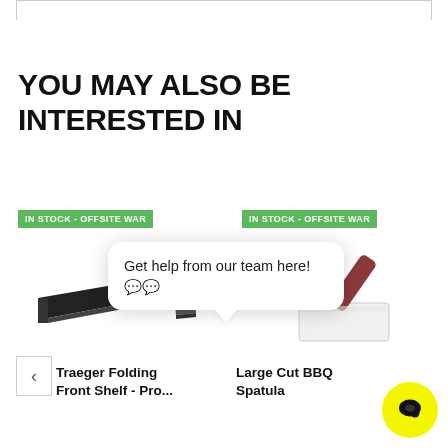YOU MAY ALSO BE INTERESTED IN
[Figure (photo): Product listing card showing 'IN STOCK - OFFSITE WAR' badge and image of Traeger Folding Front Shelf for Pro grills]
[Figure (photo): Product listing card showing 'IN STOCK - OFFSITE WAR' badge and image of Large Cut BBQ Spatula]
Get help from our team here! 💬
Traeger Folding Front Shelf - Pro...
Large Cut BBQ Spatula